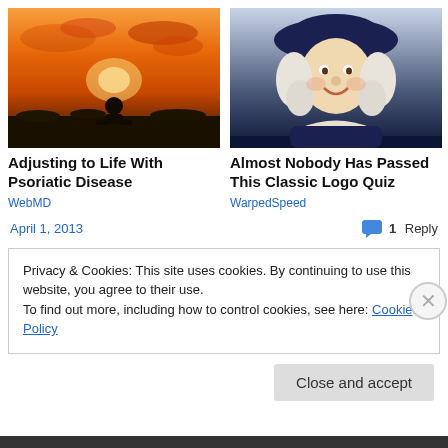[Figure (photo): Person silhouetted against a sunset sky, sitting on grass]
[Figure (illustration): Quaker Oats mascot: smiling man in colonial costume with white wig and dark hat]
Adjusting to Life With Psoriatic Disease
WebMD
Almost Nobody Has Passed This Classic Logo Quiz
WarpedSpeed
April 1, 2013
1 Reply
Privacy & Cookies: This site uses cookies. By continuing to use this website, you agree to their use.
To find out more, including how to control cookies, see here: Cookie Policy
Close and accept